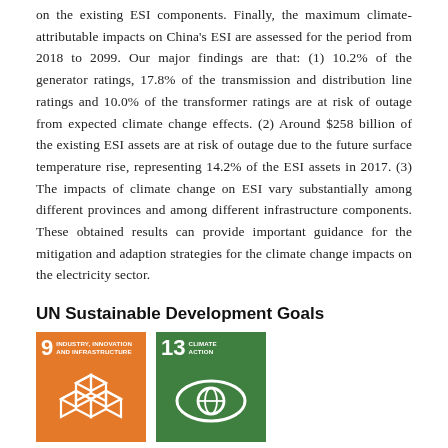on the existing ESI components. Finally, the maximum climate-attributable impacts on China's ESI are assessed for the period from 2018 to 2099. Our major findings are that: (1) 10.2% of the generator ratings, 17.8% of the transmission and distribution line ratings and 10.0% of the transformer ratings are at risk of outage from expected climate change effects. (2) Around $258 billion of the existing ESI assets are at risk of outage due to the future surface temperature rise, representing 14.2% of the ESI assets in 2017. (3) The impacts of climate change on ESI vary substantially among different provinces and among different infrastructure components. These obtained results can provide important guidance for the mitigation and adaption strategies for the climate change impacts on the electricity sector.
UN Sustainable Development Goals
[Figure (infographic): UN SDG Goal 9: Industry, Innovation and Infrastructure icon — orange square with number 9 and text 'INDUSTRY, INNOVATION AND INFRASTRUCTURE' and white geometric cubic shapes icon]
[Figure (infographic): UN SDG Goal 13: Climate Action icon — dark green square with number 13 and text 'CLIMATE ACTION' and white eye/globe icon]